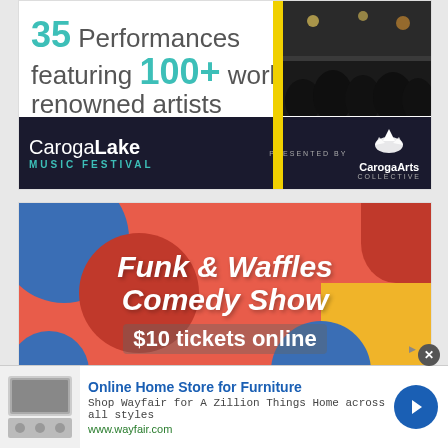[Figure (illustration): Caroga Lake Music Festival advertisement: '35 Performances featuring 100+ world-renowned artists' with dark concert photo, yellow stripe, and CarogaArts Collective logo on dark background]
[Figure (illustration): Funk & Waffles Comedy Show advertisement with colorful geometric background (red, blue, yellow shapes) and text '$10 tickets online']
[Figure (illustration): Wayfair banner advertisement: 'Online Home Store for Furniture' with appliance image, description 'Shop Wayfair for A Zillion Things Home across all styles', URL www.wayfair.com, and blue arrow button]